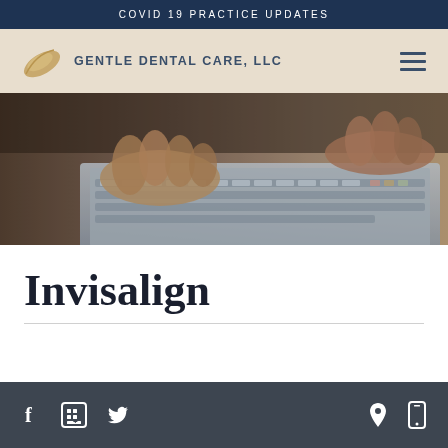COVID 19 PRACTICE UPDATES
[Figure (logo): Gentle Dental Care LLC logo with feather icon and navigation hamburger menu]
[Figure (photo): Close-up photo of hands typing on a laptop keyboard]
Invisalign
Social media and contact icons: Facebook, Google Business, Twitter, Location, Mobile